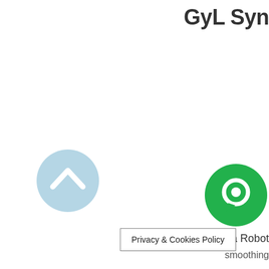GyL Syn
[Figure (other): Light blue circular button with upward-pointing chevron/arrow icon]
[Figure (other): Green circular chat/message button icon]
Not a Robot
smoothing
Privacy & Cookies Policy